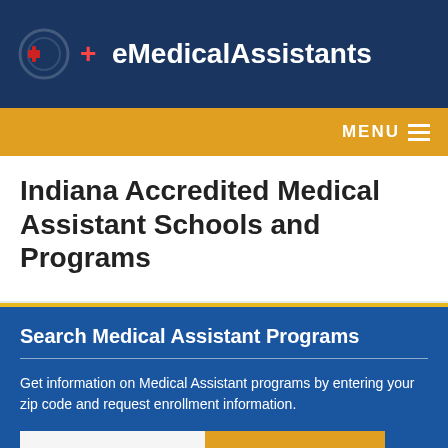eMedicalAssistants
Indiana Accredited Medical Assistant Schools and Programs
Search Medical Assistant Programs
Get information on Medical Assistant programs by entering your zip code and request enrollment information.